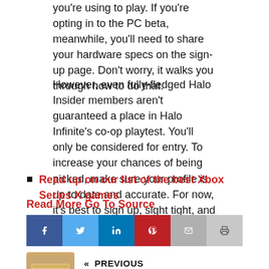you're using to play. If you're opting in to the PC beta, meanwhile, you'll need to share your hardware specs on the sign-up page. Don't worry, it walks you through how to do that.
However, even fully-fledged Halo Insider members aren't guaranteed a place in Halo Infinite's co-op playtest. You'll only be considered for entry. To increase your chances of being picked, make sure your profile is up to date and accurate. For now, it's best to sign up, sight tight, and hope the UNSC smiles upon you.
Read up on our list of the best Xbox Series X games
Read More Go To Source
[Figure (infographic): Social sharing bar with Facebook, Twitter, LinkedIn, Pinterest, Email, and Print buttons]
[Figure (infographic): Previous article navigation with thumbnail image of a snack bar and text: PREVIOUS Mobile Industry Extra: June 2022]